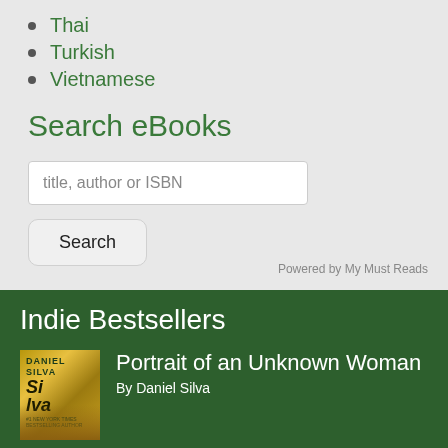Thai
Turkish
Vietnamese
Search eBooks
title, author or ISBN
Search
Powered by My Must Reads
Indie Bestsellers
[Figure (photo): Book cover of 'Portrait of an Unknown Woman' by Daniel Silva]
Portrait of an Unknown Woman
By Daniel Silva